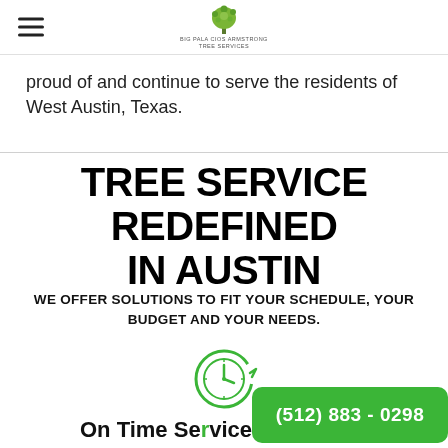Navigation header with hamburger menu and tree service logo
proud of and continue to serve the residents of West Austin, Texas.
TREE SERVICE REDEFINED IN AUSTIN
WE OFFER SOLUTIONS TO FIT YOUR SCHEDULE, YOUR BUDGET AND YOUR NEEDS.
[Figure (illustration): Green clock icon with circular arrow indicating on-time service]
On Time Service
(512) 883 - 0298